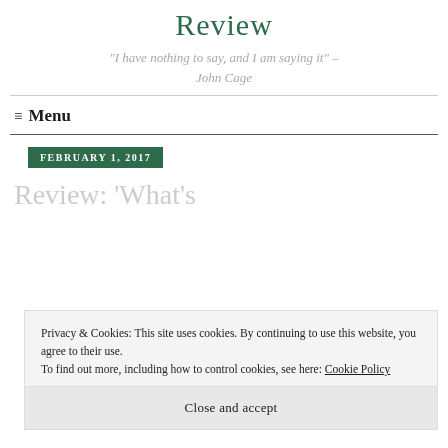Review
"I have nothing to say, and I am saying it" – John Cage
Menu
FEBRUARY 1, 2017
Review: 'What's
Privacy & Cookies: This site uses cookies. By continuing to use this website, you agree to their use.
To find out more, including how to control cookies, see here: Cookie Policy
Close and accept